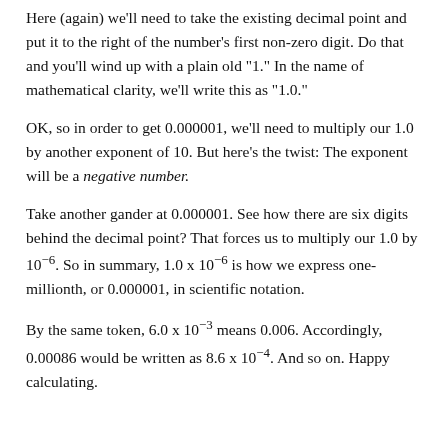Here (again) we'll need to take the existing decimal point and put it to the right of the number's first non-zero digit. Do that and you'll wind up with a plain old "1." In the name of mathematical clarity, we'll write this as "1.0."
OK, so in order to get 0.000001, we'll need to multiply our 1.0 by another exponent of 10. But here's the twist: The exponent will be a negative number.
Take another gander at 0.000001. See how there are six digits behind the decimal point? That forces us to multiply our 1.0 by 10^-6. So in summary, 1.0 x 10^-6 is how we express one-millionth, or 0.000001, in scientific notation.
By the same token, 6.0 x 10^-3 means 0.006. Accordingly, 0.00086 would be written as 8.6 x 10^-4. And so on. Happy calculating.